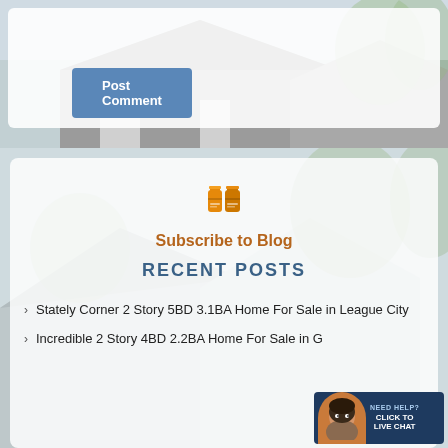Post Comment
Subscribe to Blog
RECENT POSTS
Stately Corner 2 Story 5BD 3.1BA Home For Sale in League City
Incredible 2 Story 4BD 2.2BA Home For Sale in G...